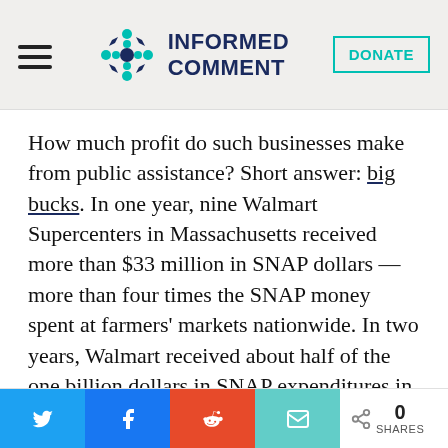Informed Comment — DONATE
How much profit do such businesses make from public assistance? Short answer: big bucks. In one year, nine Walmart Supercenters in Massachusetts received more than $33 million in SNAP dollars — more than four times the SNAP money spent at farmers' markets nationwide. In two years, Walmart received about half of the one billion dollars in SNAP expenditures in Oklahoma. Overall, 18% of
Twitter share, Facebook share, Reddit share, Email share, 0 SHARES